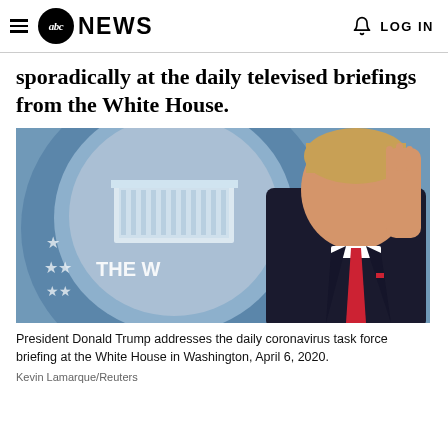abc NEWS  LOG IN
sporadically at the daily televised briefings from the White House.
[Figure (photo): President Donald Trump speaking at a podium with his right hand raised, in front of a blue White House press briefing room backdrop showing the White House seal with 'THE W' visible. He is wearing a dark suit with a red tie.]
President Donald Trump addresses the daily coronavirus task force briefing at the White House in Washington, April 6, 2020.
Kevin Lamarque/Reuters